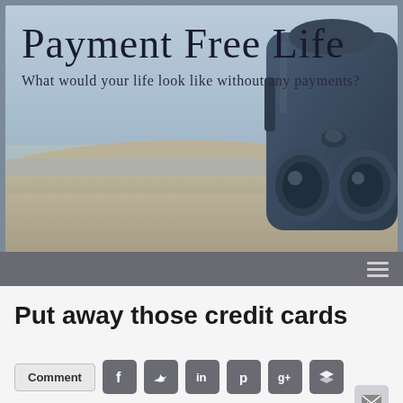[Figure (illustration): Website header banner for 'Payment Free Life' blog showing a coastal landscape with a coin-operated binoculars/telescope in the foreground on the right, blurred background of beach and sea. Cursive text overlaid reads 'Payment Free Life' and 'What would your life look like without any payments?']
Payment Free Life
What would your life look like without any payments?
Put away those credit cards
Comment
[Figure (screenshot): Social sharing buttons row: Comment button, Facebook, Twitter, LinkedIn, Pinterest, Google+, Buffer/layered circles icons, and email icon]